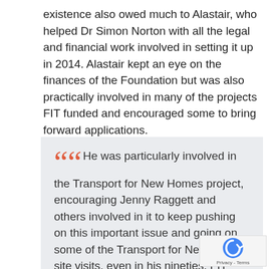existence also owed much to Alastair, who helped Dr Simon Norton with all the legal and financial work involved in setting it up in 2014. Alastair kept an eye on the finances of the Foundation but was also practically involved in many of the projects FIT funded and encouraged some to bring forward applications.
He was particularly involved in the Transport for New Homes project, encouraging Jenny Raggett and others involved in it to keep pushing on this important issue and going on some of the Transport for New Homes site visits, even in his nineties. FIT trustee and Transport for New Homes co-ordinator Jenny Raggett